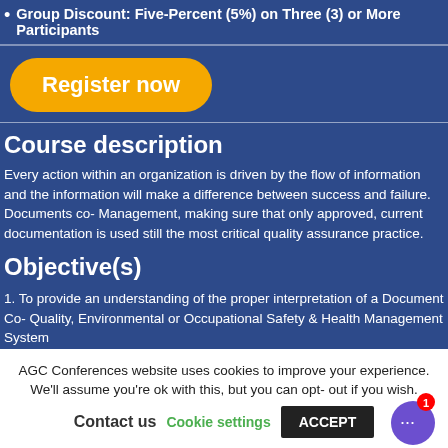Group Discount: Five-Percent (5%) on Three (3) or More Participants
Register now
Course description
Every action within an organization is driven by the flow of information and the information will make a difference between success and failure. Documents co- Management, making sure that only approved, current documentation is used still the most critical quality assurance practice.
Objective(s)
1. To provide an understanding of the proper interpretation of a Document Co- Quality, Environmental or Occupational Safety & Health Management System
2. To be able to develop an Effective and Efficient Document Control System t
AGC Conferences website uses cookies to improve your experience. We'll assume you're ok with this, but you can opt-out if you wish.
Contact us
Cookie settings
ACCEPT